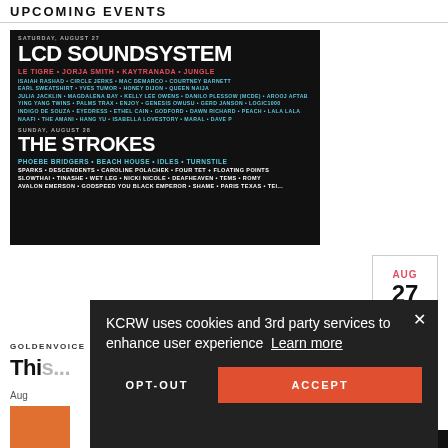UPCOMING EVENTS
[Figure (photo): Event poster for LCD SOUNDSYSTEM and THE STROKES festival on Saturday August 27 and Sunday August 28, with lineup including Le Tigre, Jorja Smith, Kaytranada, Jungle, Isaiah Rashad, Circle Jerks, Mac Demarco, Courtney Barnett, Earl Sweatshirt, Yves Tumor, Honey Dijon, Queen Naija, Julia Jacklin, Magdalena Bay, Kelly Lee Owens, Danilo Plessow, Arooj Aftab, Ying Yang Twins, Palms Trax, Enjoy, Genesis Owusu, Gerd Janson, Logic1000, Indigo De Souza, Eyedress, Ethel Cain, Godford, Dawn Richard, Peach, Lala Lala, Naafi, The Amani, Hang Yu, Isabella Lovestory, Maral, Dave P; and Phoebe Bridgers, Beach House, Idles, Turnstile, Sparks, Descendents, Caroline Polachek, Four Tet, Floating Points, Slowthai, Tinashe, Wet Leg, Nicki Nicole, Deafheaven, Tems, Romy, Avalon Emerson, Godspeed You Black Emperor, Shame, Paris Texas, Tei...]
AUG 27
GOLDENVOICE
Thi...
Aug...
[Figure (photo): Small thumbnail image with orange background, partially visible]
KCRW uses cookies and 3rd party services to enhance user experience  Learn more
OPT-OUT
ACCEPT
Your Privacy